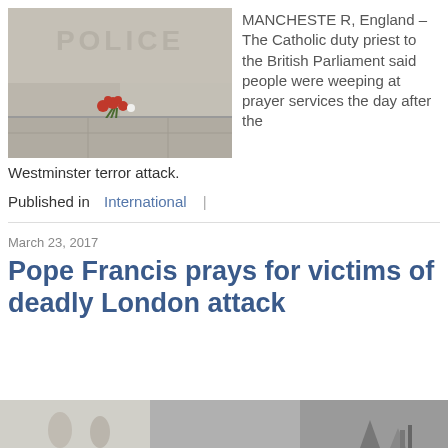[Figure (photo): Photo of flowers laid against a stone wall with the word POLICE engraved, a memorial tribute at Westminster following a terror attack.]
MANCHESTER, England – The Catholic duty priest to the British Parliament said people were weeping at prayer services the day after the
Westminster terror attack.
Published in  International  |
March 23, 2017
Pope Francis prays for victims of deadly London attack
[Figure (photo): Bottom strip showing a partial outdoor scene, partially visible image at bottom of page.]